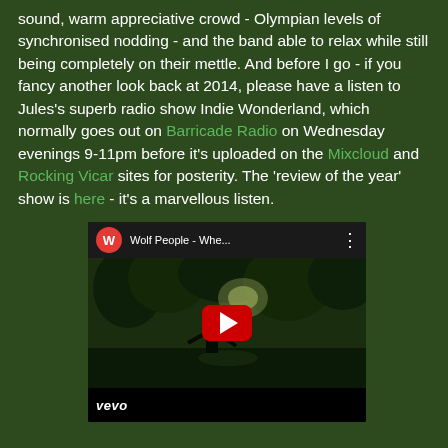sound, warm appreciative crowd - Olympian levels of synchronised nodding - and the band able to relax while still being completely on their mettle. And before I go - if you fancy another look back at 2014, please have a listen to Jules's superb radio show Indie Wonderland, which normally goes out on Barricade Radio on Wednesday evenings 9-11pm before it's uploaded on the Mixcloud and Rocking Vicar sites for posterity. The 'review of the year' show is here - it's a marvellous listen.
[Figure (screenshot): Embedded YouTube video player showing 'Wolf People - Whe...' with a vevo watermark, featuring a dark outdoor scene with a figure near water and trees, with a red play button in the center.]